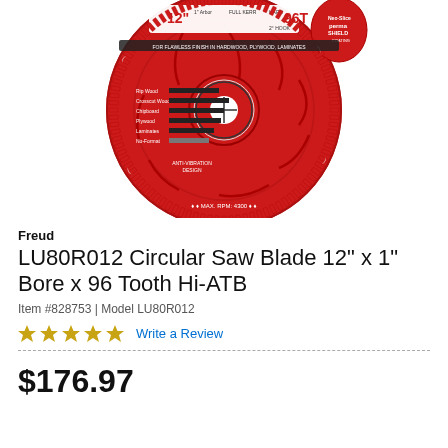[Figure (photo): Red Freud circular saw blade 12 inch, 96 tooth, 1 inch arbor, Hi-ATB, LU80R012, showing the full blade face with teeth around the perimeter, anti-vibration design, and product specifications printed on the face.]
Freud
LU80R012 Circular Saw Blade 12" x 1" Bore x 96 Tooth Hi-ATB
Item #828753 | Model LU80R012
★★★★★ Write a Review
$176.97